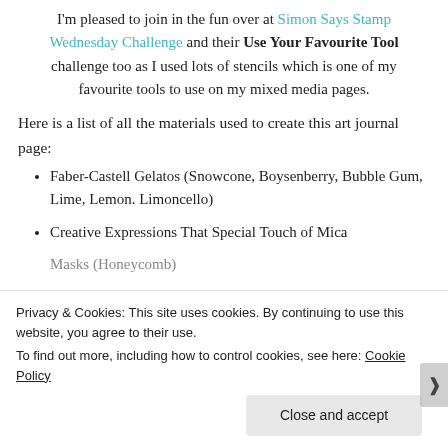I'm pleased to join in the fun over at Simon Says Stamp Wednesday Challenge and their Use Your Favourite Tool challenge too as I used lots of stencils which is one of my favourite tools to use on my mixed media pages.
Here is a list of all the materials used to create this art journal page:
Faber-Castell Gelatos (Snowcone, Boysenberry, Bubble Gum, Lime, Lemon. Limoncello)
Creative Expressions That Special Touch of Mica Masks (Honeycomb)
Privacy & Cookies: This site uses cookies. By continuing to use this website, you agree to their use.
To find out more, including how to control cookies, see here: Cookie Policy
Close and accept